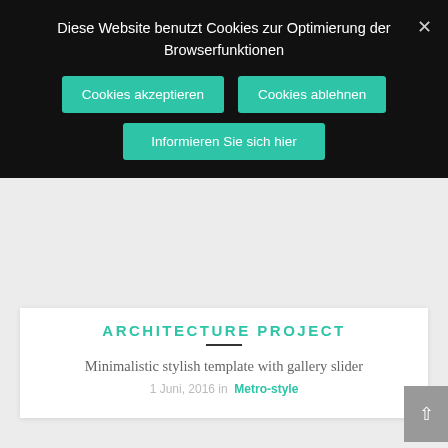Diese Website benutzt Cookies zur Optimierung der Browserfunktionen
Cookies akzeptieren
Cookies ablehnen
Informieren Sie sich hier
ARCHITECTURE PROJECT
Minimalistic stylish template with gallery slider
1 Juni, 2016 in  Metro-style
[Figure (photo): Broken image placeholder for Real Estate 02]
Real Estate 02
REAL ESTATE 02
Sample page with grid gallery & project details
27 April, 2016 in  Metro-style